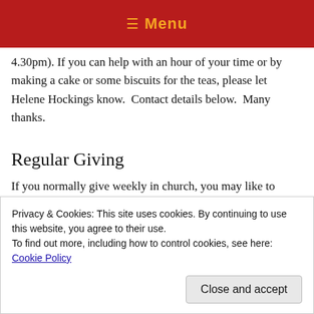≡ Menu
4.30pm). If you can help with an hour of your time or by making a cake or some biscuits for the teas, please let Helene Hockings know.  Contact details below.  Many thanks.
Regular Giving
If you normally give weekly in church, you may like to consider paying direct through your bank account.  Click
Privacy & Cookies: This site uses cookies. By continuing to use this website, you agree to their use.
To find out more, including how to control cookies, see here: Cookie Policy
Close and accept